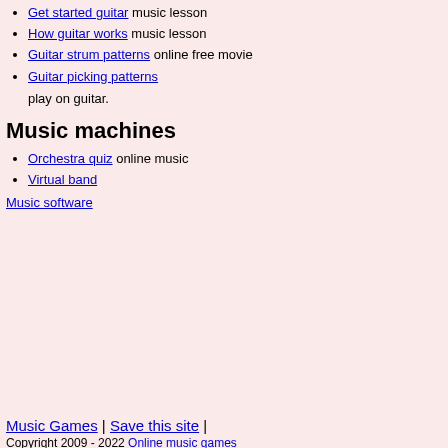Get started guitar music lesson
How guitar works music lesson
Guitar strum patterns online free movie
Guitar picking patterns
play on guitar.
Music machines
Orchestra quiz online music
Virtual band
Music software
Music Games | Save this site |
Copyright 2009 - 2022 Online music games